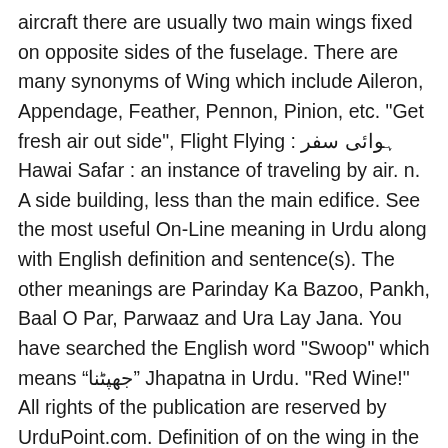aircraft there are usually two main wings fixed on opposite sides of the fuselage. There are many synonyms of Wing which include Aileron, Appendage, Feather, Pennon, Pinion, etc. "Get fresh air out side", Flight Flying : ہوائی سفر Hawai Safar : an instance of traveling by air. n. A side building, less than the main edifice. See the most useful On-Line meaning in Urdu along with English definition and sentence(s). The other meanings are Parinday Ka Bazoo, Pankh, Baal O Par, Parwaaz and Ura Lay Jana. You have searched the English word "Swoop" which means “جھپٹنا” Jhapatna in Urdu. "Red Wine!" All rights of the publication are reserved by UrduPoint.com. Definition of on the wing in the Definitions.net dictionary. transitive v. To cut off the wings of or to wound in the wing; to disable a wing of; ; also, [fig.] Download Now. n. Either of the two side petals of a